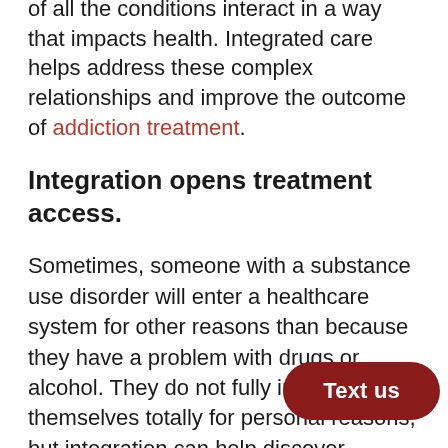of all the conditions interact in a way that impacts health. Integrated care helps address these complex relationships and improve the outcome of addiction treatment.
Integration opens treatment access.
Sometimes, someone with a substance use disorder will enter a healthcare system for other reasons than because they have a problem with drugs or alcohol. They do not fully intend to heal themselves totally for personal reasons, but integration can help discover, encourage, and assist these people with easy, sim… care.